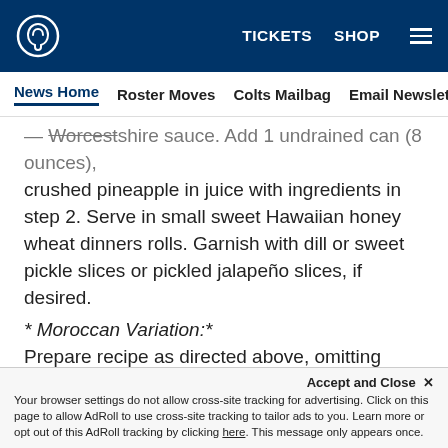TICKETS  SHOP  [menu]
News Home  Roster Moves  Colts Mailbag  Email Newsletter  U
Worcestershire sauce. Add 1 undrained can (8 ounces), crushed pineapple in juice with ingredients in step 2. Serve in small sweet Hawaiian honey wheat dinners rolls. Garnish with dill or sweet pickle slices or pickled jalapeño slices, if desired.
* Moroccan Variation:*
Prepare recipe as directed above, omitting Worcestershire sauce. Add 1/2 cup raisins, 2 teaspoons pumpkin pie spice and 1 teaspoon ground cumin with ingredients in step 2. Remove from heat and stir in 1 tablespoon nonfat Greek yogurt. Serve in naan or pita pocket breads. Garnish with cucumber slices,
nonfat Greek yogurt and chopped pistachios.
Accept and Close ✕
Your browser settings do not allow cross-site tracking for advertising. Click on this page to allow AdRoll to use cross-site tracking to tailor ads to you. Learn more or opt out of this AdRoll tracking by clicking here. This message only appears once.